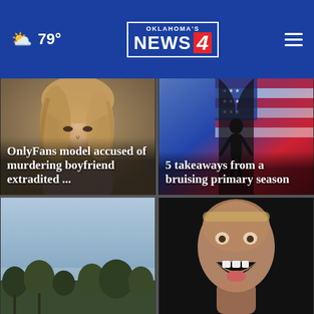79° Oklahoma's News 4
[Figure (photo): Mugshot of young woman with blonde hair]
OnlyFans model accused of murdering boyfriend extradited ...
[Figure (photo): Silhouette of person in front of American flag with red, white, and blue colors]
5 takeaways from a bruising primary season
[Figure (photo): Outdoor sky scene with trees silhouetted at dusk]
[Figure (photo): Close-up of man with open mouth laughing against dark background]